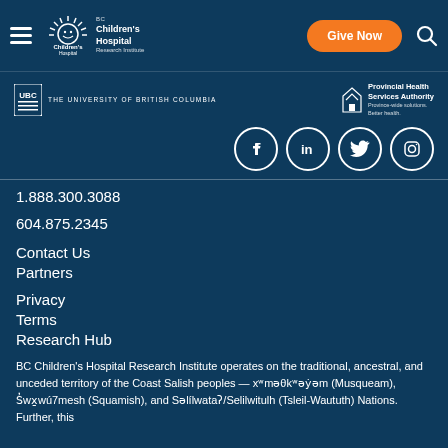[Figure (logo): BC Children's Hospital Research Institute logo and navigation bar with hamburger menu, Give Now button, and search icon]
[Figure (logo): University of British Columbia (UBC) logo and Provincial Health Services Authority (PHSA) logo, with Facebook, LinkedIn, Twitter, and Instagram social media icons]
1.888.300.3088
604.875.2345
Contact Us
Partners
Privacy
Terms
Research Hub
BC Children's Hospital Research Institute operates on the traditional, ancestral, and unceded territory of the Coast Salish peoples — xʷməθkʷəẏəm (Musqueam), Sḳwx̱wú7mesh (Squamish), and Səlílwataʔ/Selilwitulh (Tsleil-Waututh) Nations. Further, this